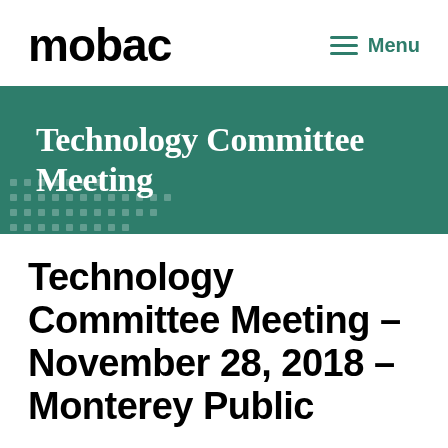mobac
Menu
[Figure (screenshot): Green banner with white serif text reading 'Technology Committee Meeting' and a decorative dot pattern in the bottom-left corner]
Technology Committee Meeting – November 28, 2018 – Monterey Public